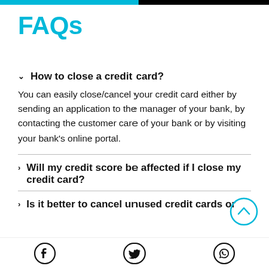FAQs
How to close a credit card?
You can easily close/cancel your credit card either by sending an application to the manager of your bank, by contacting the customer care of your bank or by visiting your bank's online portal.
Will my credit score be affected if I close my credit card?
Is it better to cancel unused credit cards or
Facebook | Twitter | WhatsApp